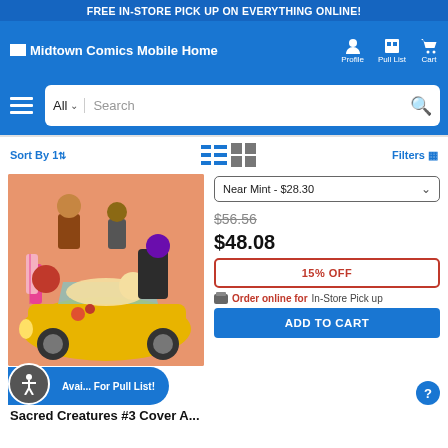FREE IN-STORE PICK UP ON EVERYTHING ONLINE!
[Figure (screenshot): Midtown Comics website navigation bar with logo, Profile, Pull List, and Cart icons]
[Figure (screenshot): Search bar with 'All' dropdown and Search input field]
Sort By | Filters
[Figure (illustration): Comic book cover art showing people in a yellow convertible car with colorful characters]
Near Mint - $28.30
$56.56
$48.08
15% OFF
Order online for In-Store Pick up
ADD TO CART
Available For Pull List!
Sacred Creatures #3 Cover A...